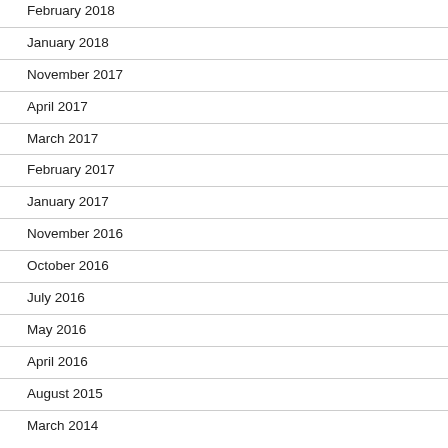February 2018
January 2018
November 2017
April 2017
March 2017
February 2017
January 2017
November 2016
October 2016
July 2016
May 2016
April 2016
August 2015
March 2014